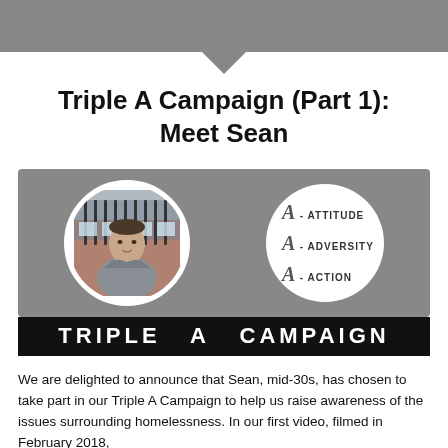Triple A Campaign (Part 1): Meet Sean
[Figure (infographic): Gray rectangular panel showing a circular portrait photo of a man (Sean, mid-30s, wearing a gray hoodie, standing outdoors in front of iron railings and a brick building) on the left side, and a white circle on the right side containing three lines: 'A - ATTITUDE', 'A - ADVERSITY', 'A - ACTION' with stylized A letters. Below the gray panel is a black banner reading 'TRIPLE A CAMPAIGN' in large white distressed lettering.]
We are delighted to announce that Sean, mid-30s, has chosen to take part in our Triple A Campaign to help us raise awareness of the issues surrounding homelessness. In our first video, filmed in February 2018,